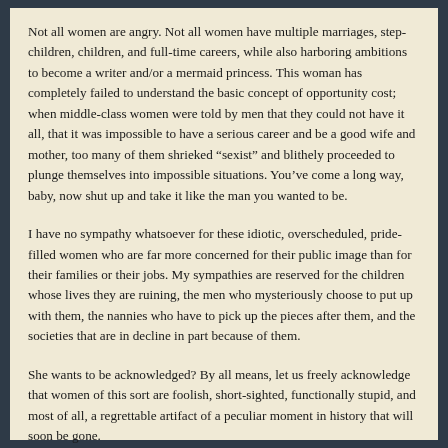Not all women are angry. Not all women have multiple marriages, step-children, children, and full-time careers, while also harboring ambitions to become a writer and/or a mermaid princess. This woman has completely failed to understand the basic concept of opportunity cost; when middle-class women were told by men that they could not have it all, that it was impossible to have a serious career and be a good wife and mother, too many of them shrieked “sexist” and blithely proceeded to plunge themselves into impossible situations. You’ve come a long way, baby, now shut up and take it like the man you wanted to be.
I have no sympathy whatsoever for these idiotic, overscheduled, pride-filled women who are far more concerned for their public image than for their families or their jobs. My sympathies are reserved for the children whose lives they are ruining, the men who mysteriously choose to put up with them, the nannies who have to pick up the pieces after them, and the societies that are in decline in part because of them.
She wants to be acknowledged? By all means, let us freely acknowledge that women of this sort are foolish, short-sighted, functionally stupid, and most of all, a regrettable artifact of a peculiar moment in history that will soon be gone.